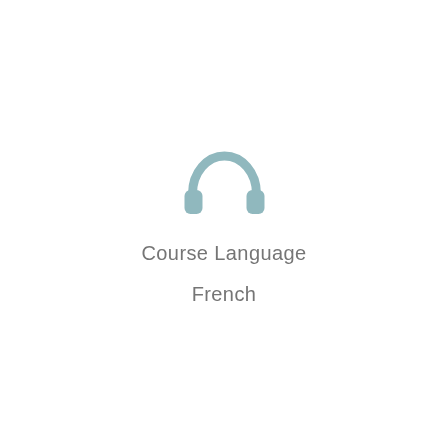[Figure (illustration): Headphones icon in muted teal/blue-grey color, centered on the page above the text labels]
Course Language
French